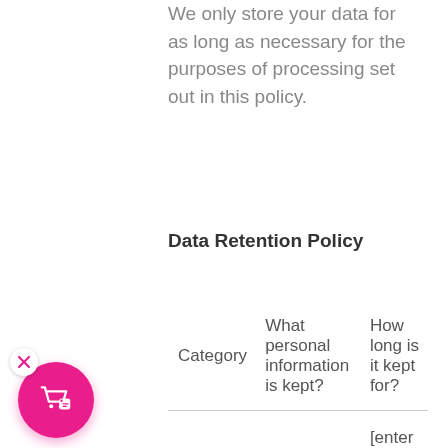We only store your data for as long as necessary for the purposes of processing set out in this policy.
Data Retention Policy
| Category | What personal information is kept? | How long is it kept for? |
| --- | --- | --- |
|  |  | [enter the length of time you store this data – please |
[Figure (other): Pink circular floating button with shopping cart and tag icon, with a white X close button in the top-left corner]